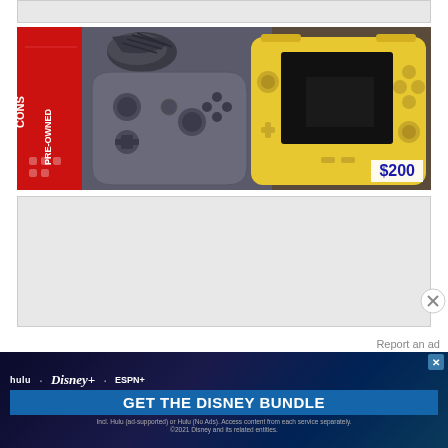[Figure (photo): Gray/white placeholder box at top of page]
[Figure (photo): Photo of a yellow Nintendo Switch Lite handheld console with a dark gray cable and a red 'PRE-OWNED CONSOLE' box on the left. A price tag overlay reads $200 in blue text on white background.]
[Figure (photo): Gray placeholder/ad box in middle of page]
[Figure (photo): Disney Bundle advertisement banner showing Hulu, Disney+, ESPN+ logos with 'GET THE DISNEY BUNDLE' call to action and fine print about access from each service separately. ©2021 Disney and its related entities.]